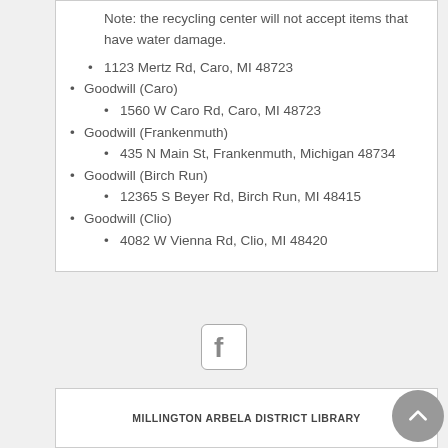Note: the recycling center will not accept items that have water damage.
1123 Mertz Rd, Caro, MI 48723
Goodwill (Caro)
1560 W Caro Rd, Caro, MI 48723
Goodwill (Frankenmuth)
435 N Main St, Frankenmuth, Michigan 48734
Goodwill (Birch Run)
12365 S Beyer Rd, Birch Run, MI 48415
Goodwill (Clio)
4082 W Vienna Rd, Clio, MI 48420
[Figure (logo): Facebook icon/logo button]
MILLINGTON ARBELA DISTRICT LIBRARY